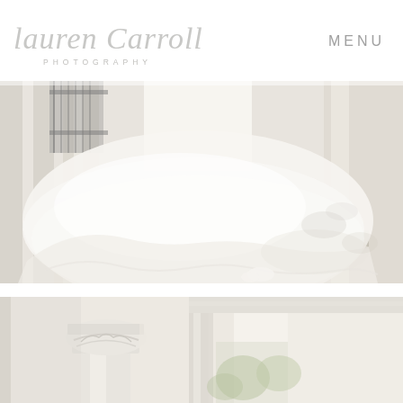[Figure (logo): Lauren Carroll Photography cursive script logo in light gray]
MENU
[Figure (photo): Close-up of a white bridal gown with voluminous tulle skirt on a porch staircase with white columns and ornate iron railing]
[Figure (photo): Partial view of a white classical column capital and architectural doorway framing with soft light and greenery]